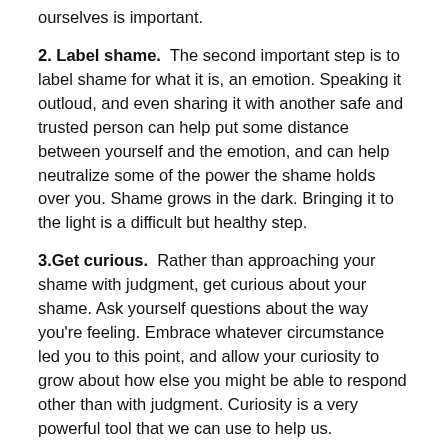ourselves is important.
2. Label shame.  The second important step is to label shame for what it is, an emotion. Speaking it outloud, and even sharing it with another safe and trusted person can help put some distance between yourself and the emotion, and can help neutralize some of the power the shame holds over you. Shame grows in the dark. Bringing it to the light is a difficult but healthy step.
3.Get curious.  Rather than approaching your shame with judgment, get curious about your shame. Ask yourself questions about the way you're feeling. Embrace whatever circumstance led you to this point, and allow your curiosity to grow about how else you might be able to respond other than with judgment. Curiosity is a very powerful tool that we can use to help us.
4. Acknowledge your inner critic.  We all have an inner critic. Some louder than others. For some people, they struggle with their inner critic shaming themselves in an attempt to first avoid any potential external shame. Reminding our inner critic that progress is a process and that we walk in grace, can greatly silence the shame we